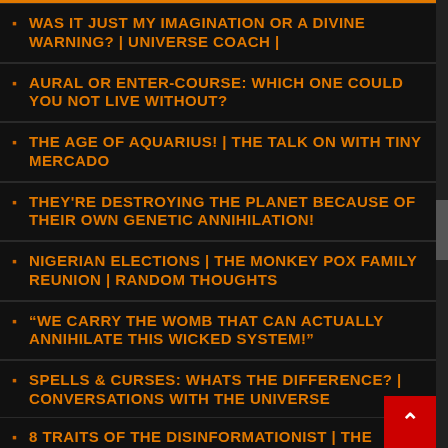WAS IT JUST MY IMAGINATION OR A DIVINE WARNING? | UNIVERSE COACH |
AURAL OR ENTER-COURSE: WHICH ONE COULD YOU NOT LIVE WITHOUT?
THE AGE OF AQUARIUS! | THE TALK ON WITH TINY MERCADO
THEY'RE DESTROYING THE PLANET BECAUSE OF THEIR OWN GENETIC ANNIHILATION!
NIGERIAN ELECTIONS | THE MONKEY POX FAMILY REUNION | RANDOM THOUGHTS
“WE CARRY THE WOMB THAT CAN ACTUALLY ANNIHILATE THIS WICKED SYSTEM!”
SPELLS & CURSES: WHATS THE DIFFERENCE? | CONVERSATIONS WITH THE UNIVERSE
8 TRAITS OF THE DISINFORMATIONIST | THE...